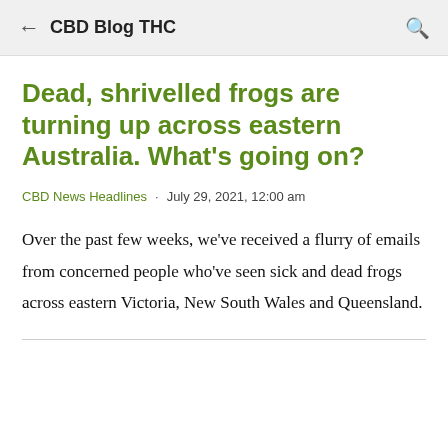CBD Blog THC
Dead, shrivelled frogs are turning up across eastern Australia. What's going on?
CBD News Headlines · July 29, 2021, 12:00 am
Over the past few weeks, we've received a flurry of emails from concerned people who've seen sick and dead frogs across eastern Victoria, New South Wales and Queensland.